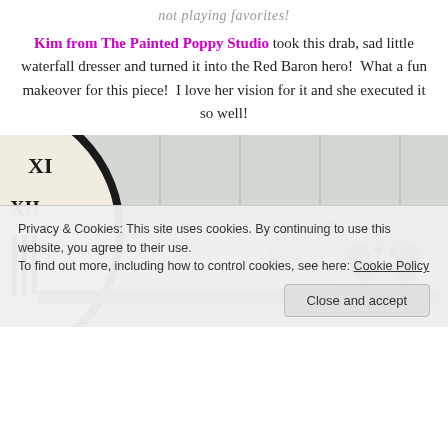not playing favorites!
Kim from The Painted Poppy Studio took this drab, sad little waterfall dresser and turned it into the Red Baron hero!  What a fun makeover for this piece!  I love her vision for it and she executed it so well!
[Figure (photo): Photo of a wooden dresser display with a large wall clock showing Roman numerals on the left, a small globe on a stand in the center, a stuffed dog toy, and a colorful illustrated panel/book with a ship scene on the right. White paneled wall background.]
Privacy & Cookies: This site uses cookies. By continuing to use this website, you agree to their use.
To find out more, including how to control cookies, see here: Cookie Policy
Close and accept